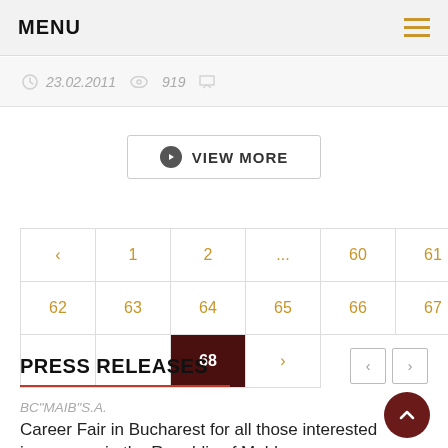MENU
23.02.2011  919
VIEW MORE
‹  1  2  ...  60  61  62  63  64  65  66  67  68  ›
PRESS RELEASES
BC"MAIB"S.A.
Career Fair in Bucharest for all those interested in a career in the Republic of Moldova